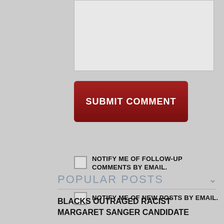[Figure (screenshot): Text area input box (partially visible at top)]
[Figure (screenshot): Submit Comment button — dark red rounded rectangle with white bold uppercase text]
NOTIFY ME OF FOLLOW-UP COMMENTS BY EMAIL.
NOTIFY ME OF NEW POSTS BY EMAIL.
POPULAR POSTS
BLACKS OUTRAGED RACIST MARGARET SANGER CANDIDATE